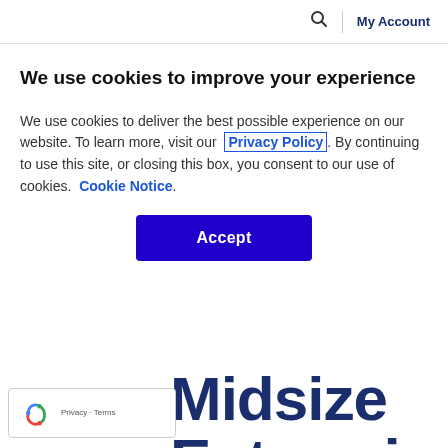🔍 | My Account
We use cookies to improve your experience
We use cookies to deliver the best possible experience on our website. To learn more, visit our  Privacy Policy. By continuing to use this site, or closing this box, you consent to our use of cookies.  Cookie Notice.
Accept
Midsize Enterprises